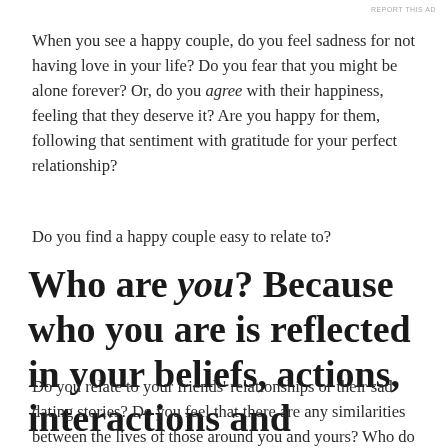REPORT THIS AD
When you see a happy couple, do you feel sadness for not having love in your life? Do you fear that you might be alone forever? Or, do you agree with their happiness, feeling that they deserve it? Are you happy for them, following that sentiment with gratitude for your perfect relationship?
Do you find a happy couple easy to relate to?
Who are you? Because who you are is reflected in your beliefs, actions, interactions and reactions.
Do you relate to your friends' relationships or their sad dating stories? Do you feel that there are any similarities between the lives of those around you and yours? Who do you feel connected to? Ask yourself and answer honestly.